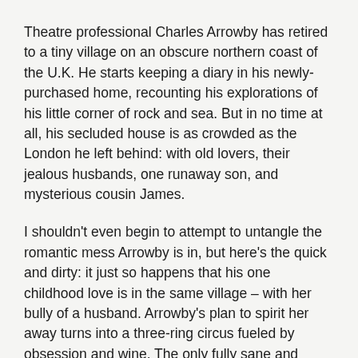Theatre professional Charles Arrowby has retired to a tiny village on an obscure northern coast of the U.K. He starts keeping a diary in his newly-purchased home, recounting his explorations of his little corner of rock and sea. But in no time at all, his secluded house is as crowded as the London he left behind: with old lovers, their jealous husbands, one runaway son, and mysterious cousin James.
I shouldn't even begin to attempt to untangle the romantic mess Arrowby is in, but here's the quick and dirty: it just so happens that his one childhood love is in the same village – with her bully of a husband. Arrowby's plan to spirit her away turns into a three-ring circus fueled by obsession and wine. The only fully sane and serene person seems to be cousin James, who remains, unfortunately, on the periphery until the end.
All the different flavors of love found here, straight and gay, December and May, seem to dissolve like the sunset over the sea when faced with the unfaded brilliance of Arrowby's childhood ties – to his first sweetheart, but also to his cousin.